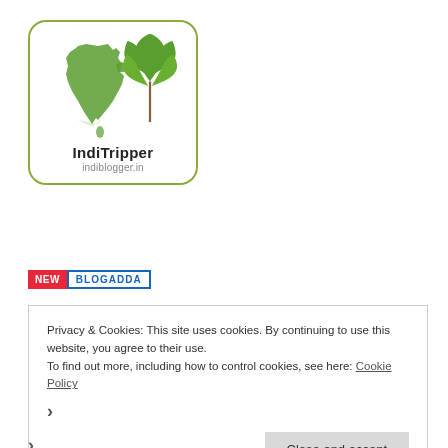[Figure (logo): IndiTripper logo: green India map silhouette and cannabis leaf illustration with text 'IndiTripper' and 'indiblogger.in' below]
[Figure (logo): New BlogAdda badge: red 'NEW' box followed by blue-bordered 'BLOGADDA' text]
Privacy & Cookies: This site uses cookies. By continuing to use this website, you agree to their use.
To find out more, including how to control cookies, see here: Cookie Policy
Close and accept